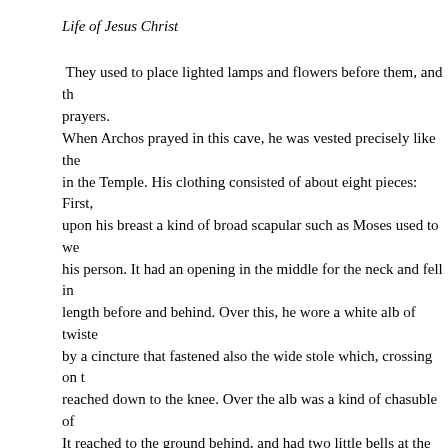Life of Jesus Christ
They used to place lighted lamps and flowers before them, and th prayers.
When Archos prayed in this cave, he was vested precisely like the in the Temple. His clothing consisted of about eight pieces: First, upon his breast a kind of broad scapular such as Moses used to we his person. It had an opening in the middle for the neck and fell in length before and behind. Over this, he wore a white alb of twiste by a cincture that fastened also the wide stole which, crossing on t reached down to the knee. Over the alb was a kind of chasuble of It reached to the ground behind, and had two little bells at the low Around the neck was a standing collar buttoned in front. The bear parted over this collar. Last of all came a small, shining mantle of untwisted silk. It was fastened in front by three stone clasps upon something was engraved, From either shoulder toward the breast n six precious stones, upon which also signs were engraved. On the and in the center, was a shield upon which were inscribed some le mantle was also adorned with fringes, tassels and artificial fruit. C he wore a short maniple. The headdress was of white silk rolled in above another and ending in a silken tuft. Over the forehead was a gold set with precious stones.